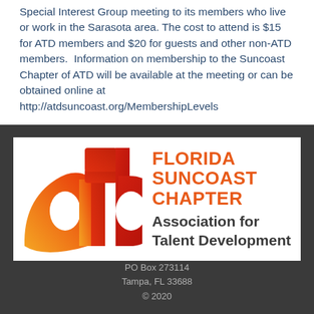Special Interest Group meeting to its members who live or work in the Sarasota area. The cost to attend is $15 for ATD members and $20 for guests and other non-ATD members. Information on membership to the Suncoast Chapter of ATD will be available at the meeting or can be obtained online at http://atdsuncoast.org/MembershipLevels
[Figure (logo): ATD Florida Suncoast Chapter logo — orange/red gradient 'atd' letters on left, 'FLORIDA SUNCOAST CHAPTER' in orange bold and 'Association for Talent Development' in dark gray bold on right, white background]
PO Box 273114
Tampa, FL 33688
© 2020